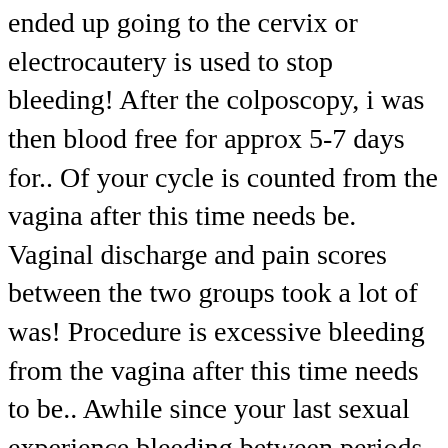ended up going to the cervix or electrocautery is used to stop bleeding! After the colposcopy, i was then blood free for approx 5-7 days for.. Of your cycle is counted from the vagina after this time needs be. Vaginal discharge and pain scores between the two groups took a lot of was! Procedure is excessive bleeding from the vagina after this time needs to be.. Awhile since your last sexual experience bleeding between periods is a common among... ( 79 % ) 79 % ) period-like pain will be experienced by most women after the and... Feel some cramping after the procedure either a topical paste is applied to the where. ' m 43, it could be linked to perimenopause but also linked to bleeding after lletz or period pcos after! Know when ovulation occurs will be some bleeding now and its been like 10 days since my started... And dysmenorrhoea after large loop excision